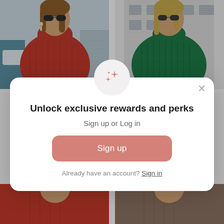[Figure (photo): Two product photos side by side: left shows a woman in a red turtleneck sweater, right shows a woman in a green turtleneck sweater. Two partially visible product photos at bottom.]
[Figure (screenshot): Modal dialog overlay with sparkle icon, heading 'Unlock exclusive rewards and perks', subtext 'Sign up or Log in', a pink 'Sign up' button, and 'Already have an account? Sign in' link]
Unlock exclusive rewards and perks
Sign up or Log in
Sign up
Already have an account? Sign in